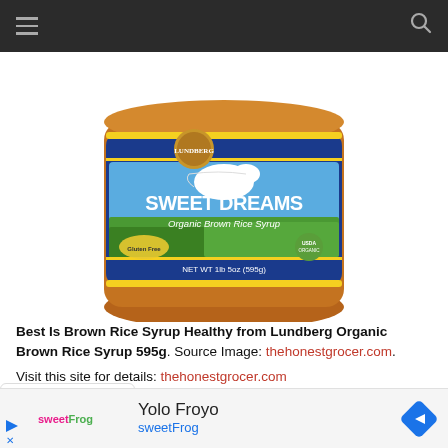Navigation bar with hamburger menu and search icon
[Figure (photo): Jar of Lundberg Sweet Dreams Organic Brown Rice Syrup, NET WT 1lb 5oz (595g), shown from above the waist of the jar with blue label, Gluten Free label, USDA organic seal]
Best Is Brown Rice Syrup Healthy from Lundberg Organic Brown Rice Syrup 595g. Source Image: thehonestgrocer.com. Visit this site for details: thehonestgrocer.com
[Figure (infographic): Advertisement banner for Yolo Froyo by sweetFrog, showing sweetFrog logo, Yolo Froyo text, sweetFrog in blue, and a blue diamond navigation icon]